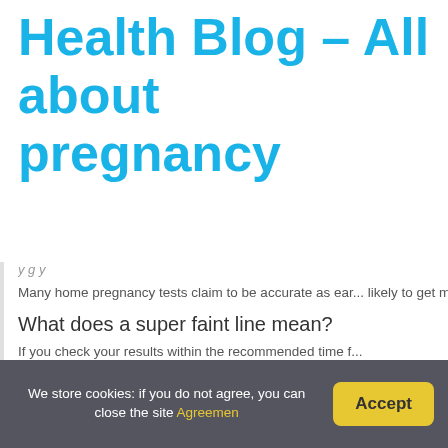Health Blog – All about pregnancy
Many home pregnancy tests claim to be accurate as ear... likely to get more accurate results, however, if you wait u...
What does a super faint line mean?
If you check your results within the recommended time f... On the other hand, if you miss the window for checking t... a faint line may be an evaporation line, which means yo...
How do I find out if Im pregnant without a...
Take two tablespoons of white vinegar in a plastic con...
We store cookies: if you do not agree, you can close the site Agreemen